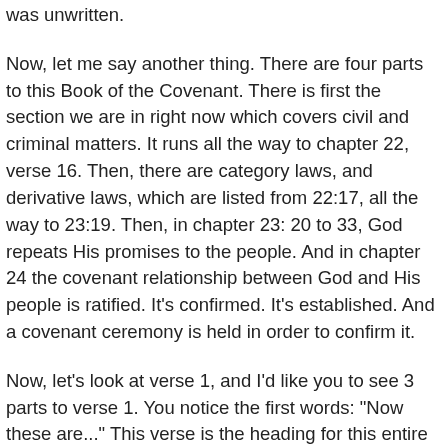was unwritten.
Now, let me say another thing. There are four parts to this Book of the Covenant. There is first the section we are in right now which covers civil and criminal matters. It runs all the way to chapter 22, verse 16. Then, there are category laws, and derivative laws, which are listed from 22:17, all the way to 23:19. Then, in chapter 23: 20 to 33, God repeats His promises to the people. And in chapter 24 the covenant relationship between God and His people is ratified. It's confirmed. It's established. And a covenant ceremony is held in order to confirm it.
Now, let's look at verse 1, and I'd like you to see 3 parts to verse 1. You notice the first words: "Now these are..." This verse is the heading for this entire section of the Book of the Covenant and "now these are", which could be read "and these are" connects the following laws to the Ten Commandments